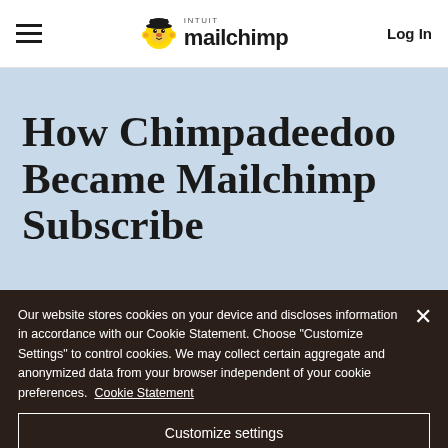Intuit Mailchimp — Log In
How Chimpadeedoo Became Mailchimp Subscribe
Our website stores cookies on your device and discloses information in accordance with our Cookie Statement. Choose "Customize Settings" to control cookies. We may collect certain aggregate and anonymized data from your browser independent of your cookie preferences. Cookie Statement
Customize settings